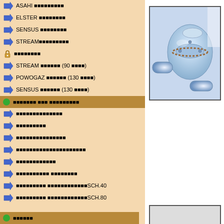ASAHI [blocks]
ELSTER [blocks]
SENSUS [blocks]
STREAM[blocks]
[lock] [blocks]
STREAM [blocks] (90 [blocks])
POWOGAZ [blocks] (130 [blocks])
SENSUS [blocks] (130 [blocks])
[dot] [blocks] [blocks] [blocks]
[blocks]
[blocks]
[blocks]
[blocks]
[blocks]
[blocks] [blocks]
[blocks] [blocks]SCH.40
[blocks] [blocks]SCH.80
[dot] [blocks]
[Figure (photo): Water meter or pipe fitting device, blue-tinted photo showing metallic coupling/valve component]